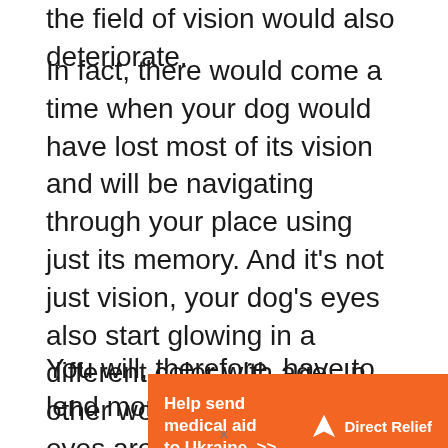the field of vision would also deteriorate.
In fact, there would come a time when your dog would have lost most of its vision and will be navigating through your place using just its memory. And it’s not just vision, your dog’s eyes also start glowing in a different color with age. In other words, if your dog’s eyes are not glowing green or in the color they used to when they were younger, it’s a tell-tale sign that age is catching up with the eyes.
You will, therefore, have to lend more than just a
[Figure (infographic): Orange advertisement banner for Direct Relief: 'Help send medical aid to Ukraine >>' with Direct Relief logo on the right.]